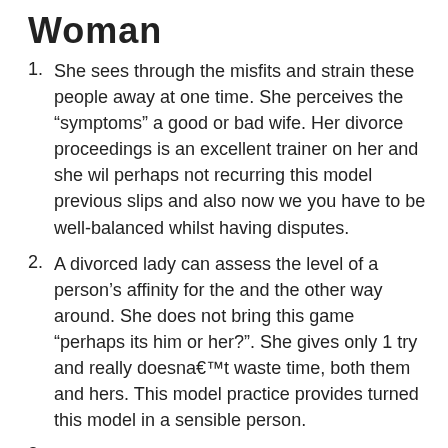Woman
She sees through the misfits and strain these people away at one time. She perceives the “symptoms” a good or bad wife. Her divorce proceedings is an excellent trainer on her and she wil perhaps not recurring this model previous slips and also now we you have to be well-balanced whilst having disputes.
A divorced lady can assess the level of a person’s affinity for the and the other way around. She does not bring this game “perhaps its him or her?”. She gives only 1 try and really doesna€™t waste time, both them and hers. This model practice provides turned this model in a sensible person.
She is not determined. Yes, she knows that this hoe may disappointed with out, you aren’t the very last